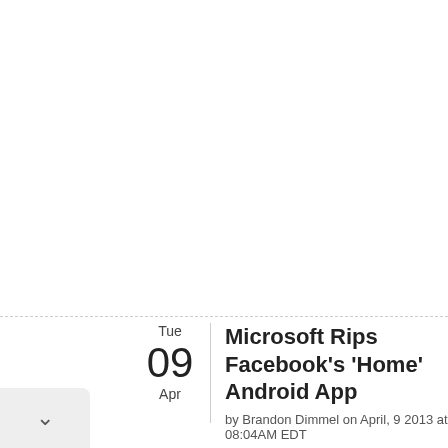Microsoft Rips Facebook's 'Home' Android App
by Brandon Dimmel on April, 9 2013 at 08:04AM EDT